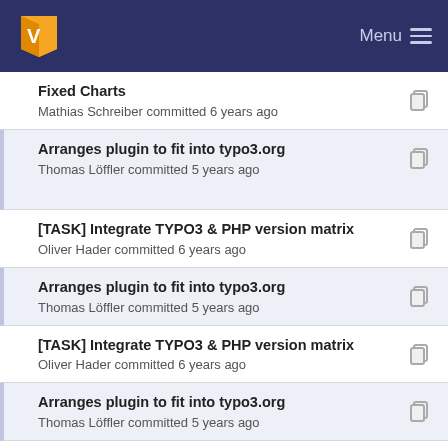Menu
Fixed Charts
Mathias Schreiber committed 6 years ago
Arranges plugin to fit into typo3.org
Thomas Löffler committed 5 years ago
[TASK] Integrate TYPO3 & PHP version matrix
Oliver Hader committed 6 years ago
Arranges plugin to fit into typo3.org
Thomas Löffler committed 5 years ago
[TASK] Integrate TYPO3 & PHP version matrix
Oliver Hader committed 6 years ago
Arranges plugin to fit into typo3.org
Thomas Löffler committed 5 years ago
Remove TYPO3 prefix because of existence in the...
Thomas Löffler committed 4 years ago